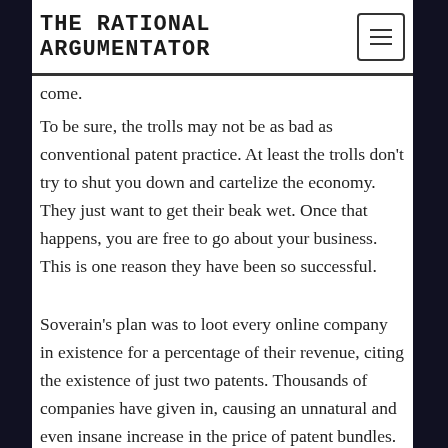THE RATIONAL ARGUMENTATOR
come.
To be sure, the trolls may not be as bad as conventional patent practice. At least the trolls don't try to shut you down and cartelize the economy. They just want to get their beak wet. Once that happens, you are free to go about your business. This is one reason they have been so successful.
Soverain's plan was to loot every online company in existence for a percentage of their revenue, citing the existence of just two patents. Thousands of companies have given in, causing an unnatural and even insane increase in the price of patent bundles. Free enterprise lives in fear.